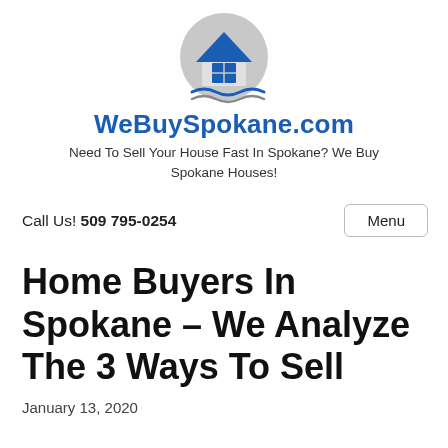[Figure (logo): WeBuySpokane.com house logo - circular gray background with blue house icon and blue waves underneath]
WeBuySpokane.com
Need To Sell Your House Fast In Spokane? We Buy Spokane Houses!
Call Us! 509 795-0254
Home Buyers In Spokane – We Analyze The 3 Ways To Sell
January 13, 2020